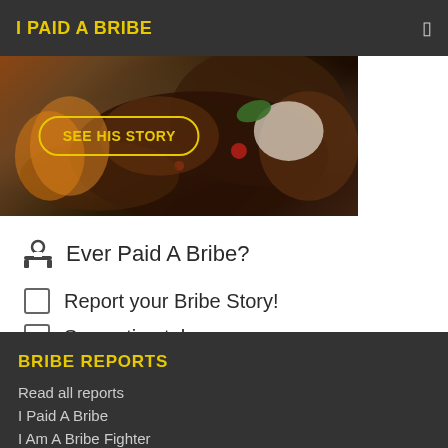I PAID A BRIBE
[Figure (photo): Food image with a yellow rounded rectangle button overlay reading 'SEE HIS STORY']
Ever Paid A Bribe?
Report your Bribe Story!
See action taken.
POST A REPORT
BRIBE REPORTS
Read all reports
I Paid A Bribe
I Am A Bribe Fighter